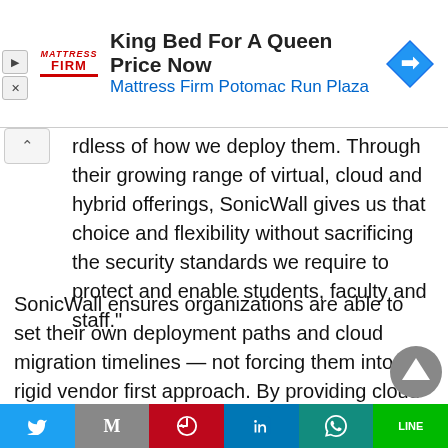[Figure (screenshot): Mattress Firm advertisement banner showing logo, 'King Bed For A Queen Price Now' headline, 'Mattress Firm Potomac Run Plaza' subtitle, and a navigation arrow icon]
rdless of how we deploy them. Through their growing range of virtual, cloud and hybrid offerings, SonicWall gives us that choice and flexibility without sacrificing the security standards we require to protect and enable students, faculty and staff."
SonicWall ensures organizations are able to set their own deployment paths and cloud migration timelines — not forcing them into a rigid vendor first approach. By providing cloud-based (e.g.,
[Figure (screenshot): Social media share bar with Twitter, Mail, Pinterest, LinkedIn, WhatsApp, and LINE buttons]